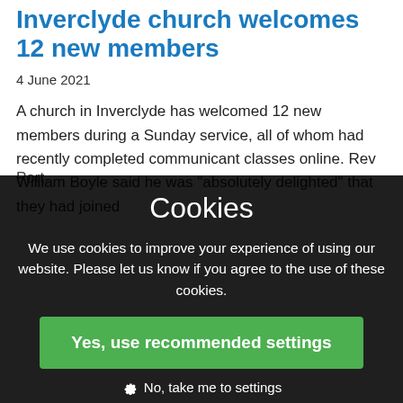Inverclyde church welcomes 12 new members
4 June 2021
A church in Inverclyde has welcomed 12 new members during a Sunday service, all of whom had recently completed communicant classes online. Rev William Boyle said he was "absolutely delighted" that they had joined Port
Cookies
We use cookies to improve your experience of using our website. Please let us know if you agree to the use of these cookies.
Yes, use recommended settings
No, take me to settings